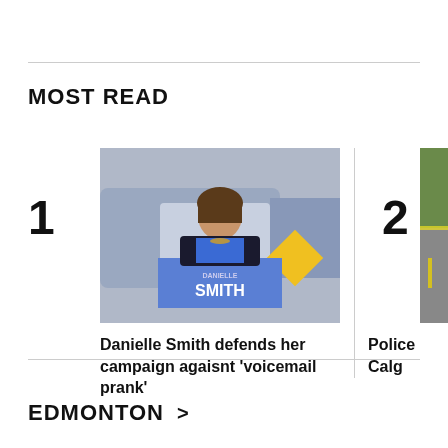MOST READ
[Figure (photo): Photo of Danielle Smith standing at a podium with 'DANIELLE SMITH' text on the front, in front of vehicles]
Danielle Smith defends her campaign agaisnt 'voicemail prank'
[Figure (photo): Partially visible photo of a road scene, appears to be a police/crime scene]
Police Calg
EDMONTON >